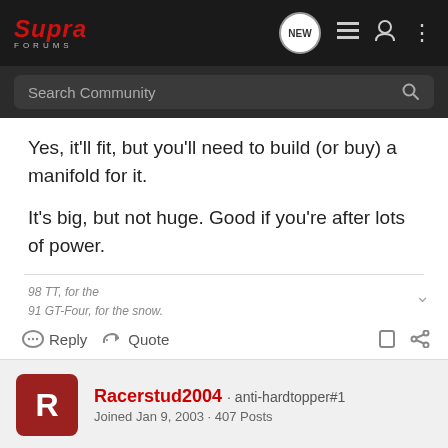[Figure (screenshot): Supra Forums navigation bar with logo, NEW badge, list icon, user icon, and more (dots) icon on dark background]
[Figure (screenshot): Search Community search bar with magnifying glass icon on dark background]
Yes, it'll fit, but you'll need to build (or buy) a manifold for it.

It's big, but not huge. Good if you're after lots of power.
98 TT, for the
91 GT-Four, for the snow.
Reply   Quote
Racerstud2004 · anti-hardtopper#1
Joined Jan 9, 2003 · 407 Posts
Discussion Starter · #6 · Oct 28, 2003